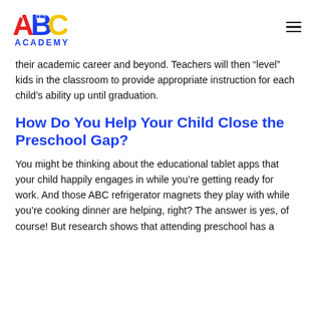ABC ACADEMY
their academic career and beyond. Teachers will then “level” kids in the classroom to provide appropriate instruction for each child’s ability up until graduation.
How Do You Help Your Child Close the Preschool Gap?
You might be thinking about the educational tablet apps that your child happily engages in while you’re getting ready for work. And those ABC refrigerator magnets they play with while you’re cooking dinner are helping, right? The answer is yes, of course! But research shows that attending preschool has a